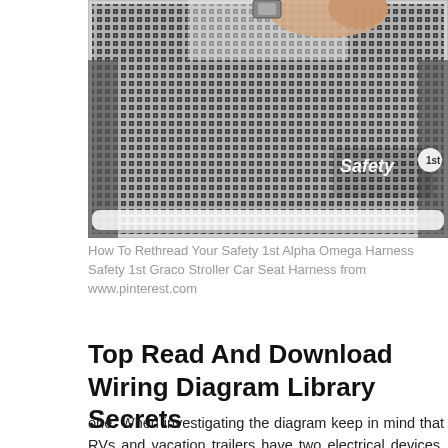[Figure (photo): Close-up photo of a Safety 1st car seat harness fabric with a black and white dot/diamond pattern. A hand is visible at the top adjusting the harness. The Safety 1st logo in white text is visible in the lower right area of the seat.]
How To Rethread Your Safety 1st Alpha Omega Harness Safety 1st Graco Stroller Car Seat Harness from www.pinterest.com
Top Read And Download Wiring Diagram Library Secrets
one. When investigating the diagram keep in mind that RVs and vacation trailers have two electrical devices. One is AC and the other is DC. Never